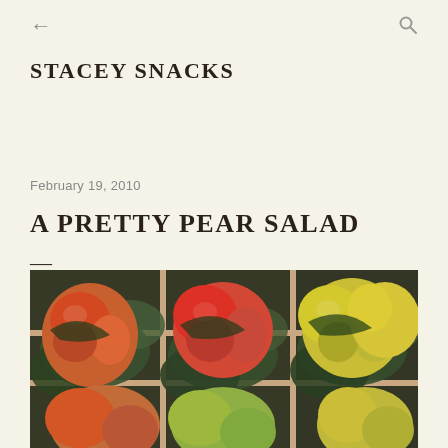← STACEY SNACKS 🔍
STACEY SNACKS
February 19, 2010
A PRETTY PEAR SALAD
—
[Figure (photo): Close-up photo of red and yellow pears packed in wooden crates lined with dark green tissue paper, viewed from above at an angle.]